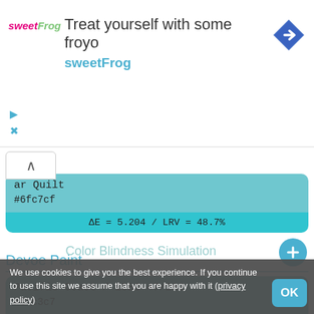[Figure (screenshot): Ad banner for sweetFrog frozen yogurt with logo, title 'Treat yourself with some froyo', brand name 'sweetFrog', navigation arrow icon, and ad control icons (play/close).]
ar Quilt
#6fc7cf
ΔE = 5.204 / LRV = 48.7%
Devoe Paint
Pacific Coast / 18BG 47/282
#6cc3c7
ΔE = 5.211 / LRV = 46.3%
Color Blindness Simulation
We use cookies to give you the best experience. If you continue to use this site we assume that you are happy with it (privacy policy)